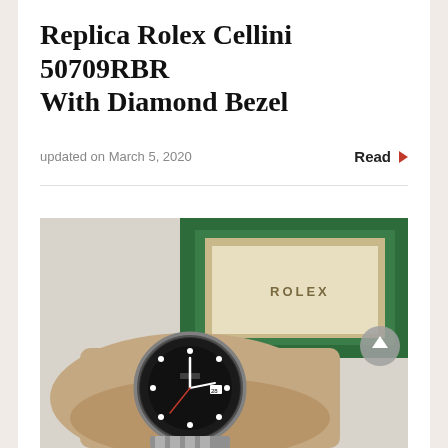Replica Rolex Cellini 50709RBR With Diamond Bezel
updated on March 5, 2020
Read
[Figure (photo): A Rolex watch with black bezel worn on a man's wrist, with a green Rolex box visible in the background. The watch has a black dial with luminous hour markers.]